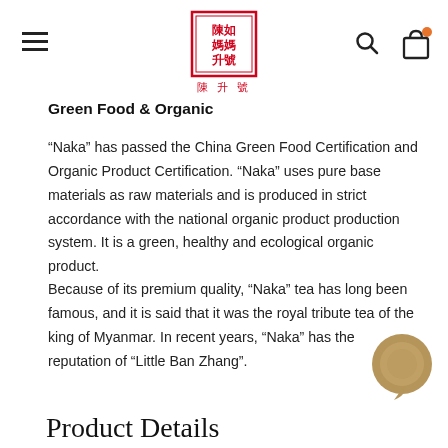Chen Sheng Hao logo with hamburger menu, search, and cart icons
Green Food & Organic
“Naka” has passed the China Green Food Certification and Organic Product Certification. “Naka” uses pure base materials as raw materials and is produced in strict accordance with the national organic product production system. It is a green, healthy and ecological organic product.
Because of its premium quality, “Naka” tea has long been famous, and it is said that it was the royal tribute tea of the king of Myanmar. In recent years, “Naka” has the reputation of “Little Ban Zhang”.
Product Details